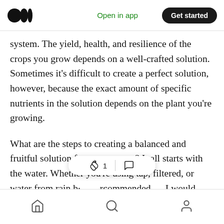Medium app header — logo, Open in app, Get started
system. The yield, health, and resilience of the crops you grow depends on a well-crafted solution. Sometimes it’s difficult to create a perfect solution, however, because the exact amount of specific nutrients in the solution depends on the plant you’re growing.
What are the steps to creating a balanced and fruitful solution for your system? It all starts with the water. Whether you’re using tap, filtered, or water from rain b···commended — I would filter it first, ·get a laboratory
Bottom navigation: Home, Search, Profile